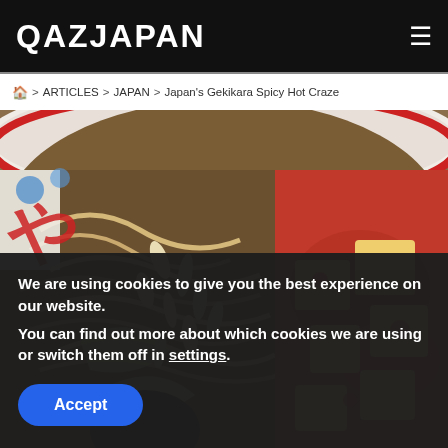QAZJAPAN
🏠 > ARTICLES > JAPAN > Japan's Gekikara Spicy Hot Craze
[Figure (photo): Close-up photo of a ramen bowl with noodles, bean sprouts, tofu pieces in bright red spicy sauce, and a white bowl with red stripe and Japanese characters]
We are using cookies to give you the best experience on our website.
You can find out more about which cookies we are using or switch them off in settings.
Accept